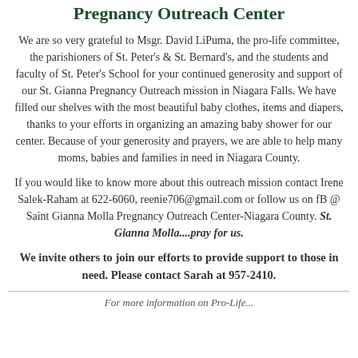Pregnancy Outreach Center
We are so very grateful to Msgr. David LiPuma, the pro-life committee, the parishioners of St. Peter's & St. Bernard's, and the students and faculty of St. Peter's School for your continued generosity and support of our St. Gianna Pregnancy Outreach mission in Niagara Falls. We have filled our shelves with the most beautiful baby clothes, items and diapers, thanks to your efforts in organizing an amazing baby shower for our center. Because of your generosity and prayers, we are able to help many moms, babies and families in need in Niagara County.
If you would like to know more about this outreach mission contact Irene Salek-Raham at 622-6060, reenie706@gmail.com or follow us on fB @ Saint Gianna Molla Pregnancy Outreach Center-Niagara County. St. Gianna Molla....pray for us.
We invite others to join our efforts to provide support to those in need. Please contact Sarah at 957-2410.
For more information on Pro-Life...